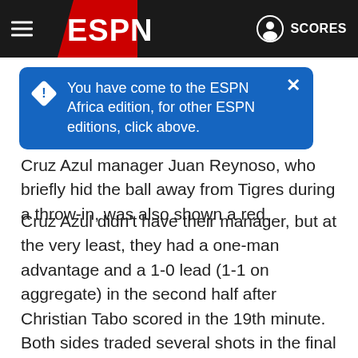ESPN - SCORES
[Figure (screenshot): Blue tooltip popup: 'You have come to the ESPN Africa edition, for other ESPN editions, click above.' with a close X button and warning diamond icon]
before halftime Cruz Azul manager Juan Reynoso, who briefly hid the ball away from Tigres during a throw-in, was also shown a red.
Cruz Azul didn't have their manager, but at the very least, they had a one-man advantage and a 1-0 lead (1-1 on aggregate) in the second half after Christian Tabo scored in the 19th minute. Both sides traded several shots in the final 45 minutes, but with goalkeepers Nahuel Guzman and Sebastian Jurado stepping up in net, it was Tigres who eventually secured a semifinal ticket thanks to finishing higher than Cruz Azul in the league table.
"It's a shame it didn't happen in the aggregate, but if you all do an analysis, surely in possession and in the statistics, we were superior in the attack," said Cruz Azul assistant coach Jaime